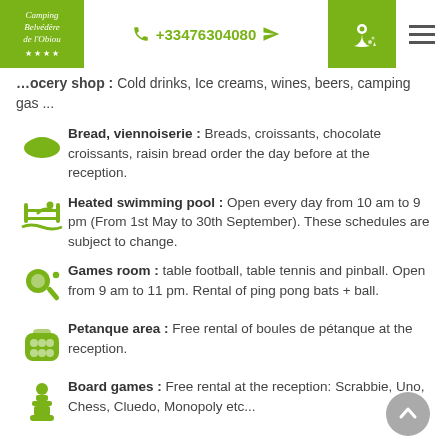Camping Belvédère de l'Obiou | +33476304080
ocery shop : Cold drinks, Ice creams, wines, beers, camping gas ...
Bread, viennoiserie : Breads, croissants, chocolate croissants, raisin bread order the day before at the reception.
Heated swimming pool : Open every day from 10 am to 9 pm (From 1st May to 30th September). These schedules are subject to change.
Games room : table football, table tennis and pinball. Open from 9 am to 11 pm. Rental of ping pong bats + ball.
Petanque area : Free rental of boules de pétanque at the reception.
Board games : Free rental at the reception: Scrabbie, Uno, Chess, Cluedo, Monopoly etc...